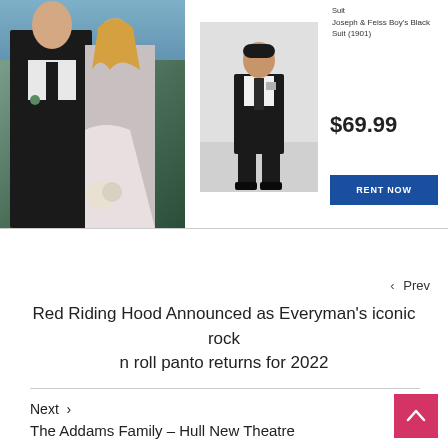[Figure (photo): Hero photo of a man in a black tuxedo suit standing with a woman in a white wedding dress outdoors]
[Figure (photo): Product photo of a boy wearing a Joseph & Feiss black suit, standing on white background]
Suit
Joseph & Feiss Boy's Black Suit (1901)
$69.99
RENT NOW
< Prev
Red Riding Hood Announced as Everyman's iconic rock n roll panto returns for 2022
Next >
The Addams Family – Hull New Theatre